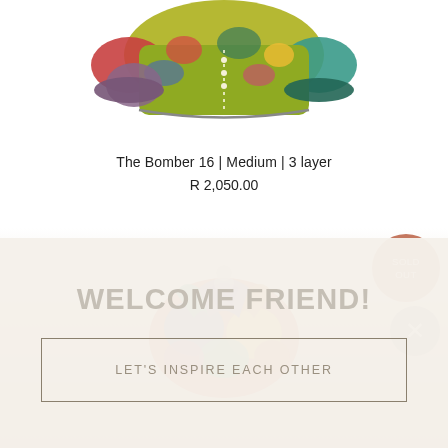[Figure (photo): Colorful floral/patterned bomber jacket photographed from above, cropped at top of page]
The Bomber 16 | Medium | 3 layer
R 2,050.00
[Figure (photo): Colorful patterned shirt/jacket collar visible, partially obscured by pop-up overlay, with a 'SOLD OUT' circular badge in terracotta/rust color and a grey close (X) button]
WELCOME FRIEND!
LET'S INSPIRE EACH OTHER